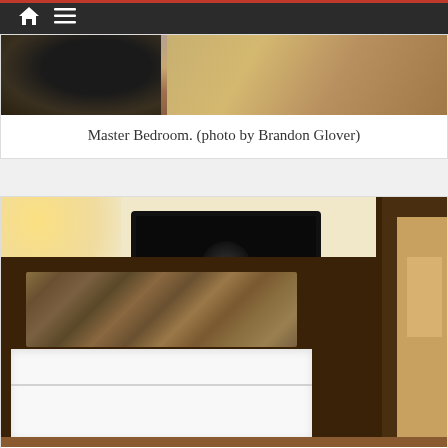Navigation header with home and menu icons
[Figure (photo): Partial view of master bedroom — dark hat/object on left and wooden furniture on right, warm tones]
Master Bedroom. (photo by Brandon Glover)
[Figure (photo): Guest bedroom with pull-down Murphy bed featuring decorative tapestry headboard, flat-screen TV mounted on warm beige wall, wooden dark bed frame, white mattress/bedding, door frame on right]
Guest bedroom includes this pull down bed with a great